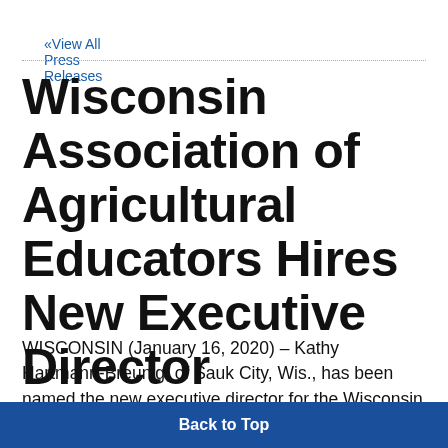« View All Press Releases
Wisconsin Association of Agricultural Educators Hires New Executive Director
WISCONSIN (January 16, 2020) – Kathy Hartmann-Breunig, of Sauk City, Wis., has been named the new executive director for the Wisconsin Association of Agricultural Educators (WAAE), a professional
Back to Top